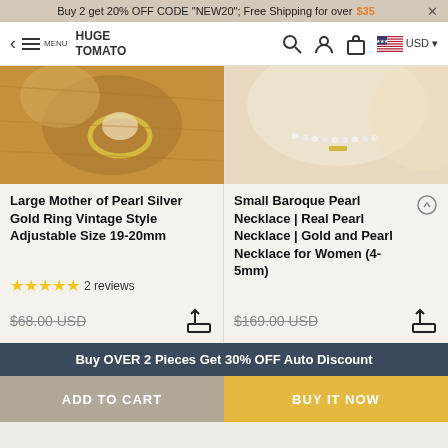Buy 2 get 20% OFF CODE "NEW20"; Free Shipping for over $35 ×
HUGE TOMATO — navigation bar with back, menu, search, account, cart, USD
[Figure (photo): Close-up of a large mother of pearl ring on a wooden surface, gold ring setting]
[Figure (photo): Close-up of a small baroque pearl necklace on a beige/cream background with gold bar elements]
Large Mother of Pearl Silver Gold Ring Vintage Style Adjustable Size 19-20mm
★★★★★ 2 reviews
Small Baroque Pearl Necklace | Real Pearl Necklace | Gold and Pearl Necklace for Women (4-5mm)
$68.00 USD
$169.00 USD
Buy OVER 2 Pieces Get 30% OFF Auto Discount
ADD TO CART   BUY IT NOW